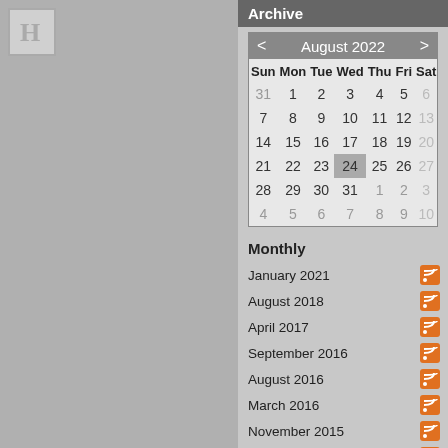[Figure (logo): H logo placeholder box]
Archive
| Sun | Mon | Tue | Wed | Thu | Fri | Sat |
| --- | --- | --- | --- | --- | --- | --- |
| 31 | 1 | 2 | 3 | 4 | 5 | 6 |
| 7 | 8 | 9 | 10 | 11 | 12 | 13 |
| 14 | 15 | 16 | 17 | 18 | 19 | 20 |
| 21 | 22 | 23 | 24 | 25 | 26 | 27 |
| 28 | 29 | 30 | 31 | 1 | 2 | 3 |
| 4 | 5 | 6 | 7 | 8 | 9 | 10 |
Monthly
January 2021
August 2018
April 2017
September 2016
August 2016
March 2016
November 2015
October 2015
August 2015